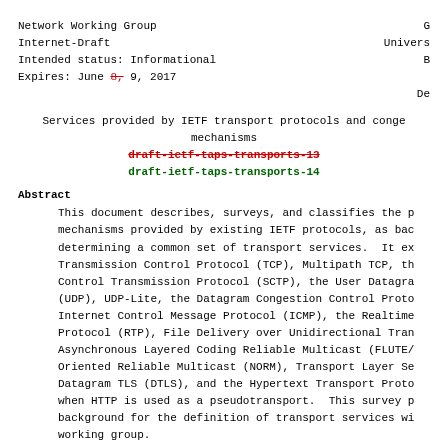Network Working Group
Internet-Draft
Intended status: Informational
Expires: June 8, 9, 2017
Services provided by IETF transport protocols and congestion control mechanisms
draft-ietf-taps-transports-13
draft-ietf-taps-transports-14
Abstract
This document describes, surveys, and classifies the properties and mechanisms provided by existing IETF protocols, as background for determining a common set of transport services. It examines the Transmission Control Protocol (TCP), Multipath TCP, the Stream Control Transmission Protocol (SCTP), the User Datagram Protocol (UDP), UDP-Lite, the Datagram Congestion Control Protocol (DCCP), Internet Control Message Protocol (ICMP), the Realtime Transport Protocol (RTP), File Delivery over Unidirectional Transport (FLUTE)/Asynchronous Layered Coding Reliable Multicast (FLUTE/ALC), NACK-Oriented Reliable Multicast (NORM), Transport Layer Security (TLS), Datagram TLS (DTLS), and the Hypertext Transport Protocol (HTTP) when HTTP is used as a pseudotransport. This survey provides background for the definition of transport services within the TAPS working group.